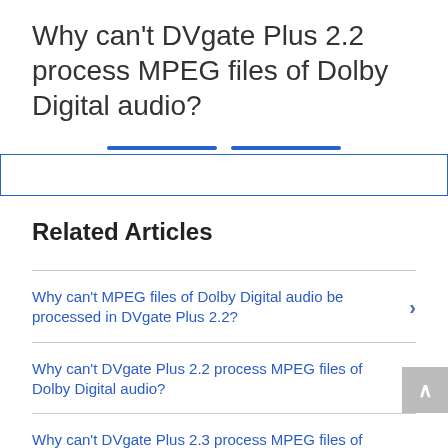Why can't DVgate Plus 2.2 process MPEG files of Dolby Digital audio?
Related Articles
Why can't MPEG files of Dolby Digital audio be processed in DVgate Plus 2.2?
Why can't DVgate Plus 2.2 process MPEG files of Dolby Digital audio?
Why can't DVgate Plus 2.3 process MPEG files of Dolby Digital audio?